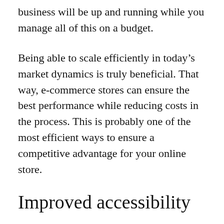business will be up and running while you manage all of this on a budget.
Being able to scale efficiently in today’s market dynamics is truly beneficial. That way, e-commerce stores can ensure the best performance while reducing costs in the process. This is probably one of the most efficient ways to ensure a competitive advantage for your online store.
Improved accessibility
As mentioned before, the cloud is also one giant storage where you can safely store your business data. However, this data is available to you at any time, anywhere, and from any device. This vastly improves